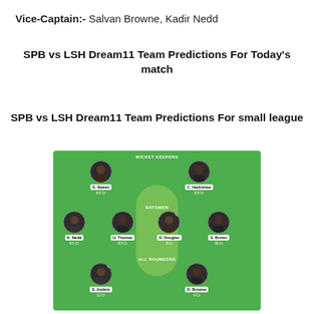Vice-Captain:- Salvan Browne, Kadir Nedd
SPB vs LSH Dream11 Team Predictions For Today's match
SPB vs LSH Dream11 Team Predictions For small league
[Figure (infographic): Dream11 fantasy cricket team selection screen on green cricket field background showing players: S. Sween (8.5Cr) and C. Hackshaw (8.5Cr) as wicket-keepers; K. Nedd (9.5Cr), U. Thomas (8.5Cr), D. Douglas (9Cr), S. Brown (30Cr) as batsmen; S. Ambris (11Cr) and D. Browne (9Cr) as all-rounders.]